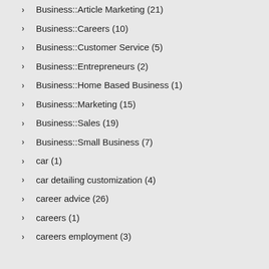Business::Article Marketing (21)
Business::Careers (10)
Business::Customer Service (5)
Business::Entrepreneurs (2)
Business::Home Based Business (1)
Business::Marketing (15)
Business::Sales (19)
Business::Small Business (7)
car (1)
car detailing customization (4)
career advice (26)
careers (1)
careers employment (3)